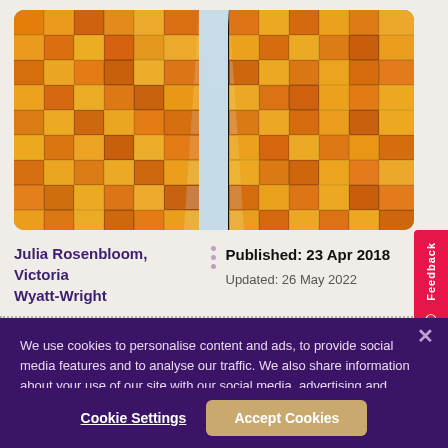[Figure (photo): Upward view of two tall modern glass skyscrapers with golden/orange reflective windows and dark metal frames, sky visible between them]
Julia Rosenbloom, Victoria Wyatt-Wright
Published: 23 Apr 2018
Updated: 26 May 2022
We use cookies to personalise content and ads, to provide social media features and to analyse our traffic. We also share information about your use of our site with our social media, advertising and analytics partners.
Cookie Settings
Accept Cookies